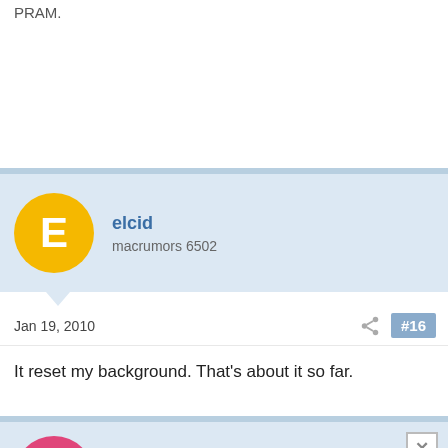PRAM.
elcid
macrumors 6502
Jan 19, 2010  #16
It reset my background. That's about it so far.
Symbolism
macrumors newbie